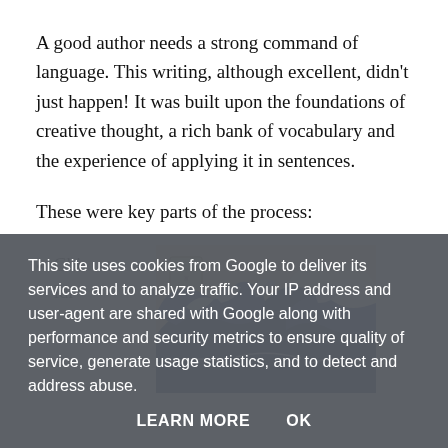A good author needs a strong command of language. This writing, although excellent, didn't just happen! It was built upon the foundations of creative thought, a rich bank of vocabulary and the experience of applying it in sentences.
These were key parts of the process:
Childr
[Figure (illustration): Partial view of a Japanese woodblock print showing The Great Wave, with blue and white crashing waves against a tan/cream background, with a small decorative cartouche in the upper left.]
This site uses cookies from Google to deliver its services and to analyze traffic. Your IP address and user-agent are shared with Google along with performance and security metrics to ensure quality of service, generate usage statistics, and to detect and address abuse.
LEARN MORE    OK